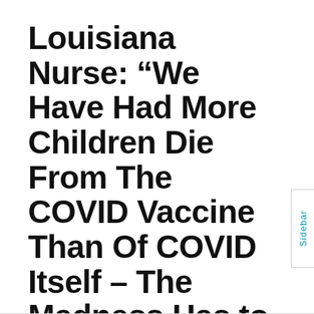Louisiana Nurse: “We Have Had More Children Die From The COVID Vaccine Than Of COVID Itself – The Madness Has to Stop!”
December 24, 2021 12:02 AM By Brian Shilhavy — Leave a Comment
This is an excerpt from a post published by Healthimpactnews.com.